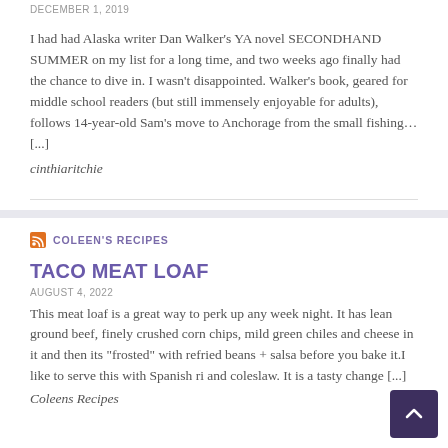DECEMBER 1, 2019
I had had Alaska writer Dan Walker's YA novel SECONDHAND SUMMER on my list for a long time, and two weeks ago finally had the chance to dive in. I wasn't disappointed. Walker's book, geared for middle school readers (but still immensely enjoyable for adults), follows 14-year-old Sam's move to Anchorage from the small fishing... [...]
cinthiaritchie
COLEEN'S RECIPES
TACO MEAT LOAF
AUGUST 4, 2022
This meat loaf is a great way to perk up any week night. It has lean ground beef, finely crushed corn chips, mild green chiles and cheese in it and then its "frosted" with refried beans + salsa before you bake it.I like to serve this with Spanish ri and coleslaw. It is a tasty change [...]
Coleens Recipes